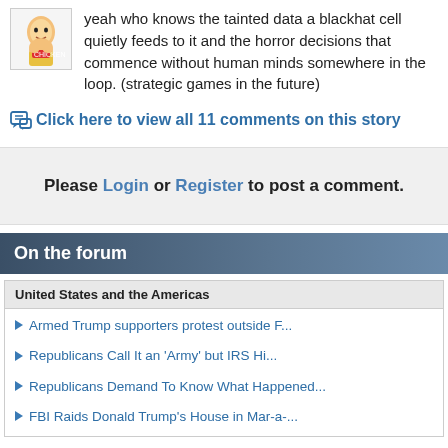yeah who knows the tainted data a blackhat cell quietly feeds to it and the horror decisions that commence without human minds somewhere in the loop. (strategic games in the future)
Click here to view all 11 comments on this story
Please Login or Register to post a comment.
On the forum
United States and the Americas
Armed Trump supporters protest outside F...
Republicans Call It an 'Army' but IRS Hi...
Republicans Demand To Know What Happened...
FBI Raids Donald Trump's House in Mar-a-...